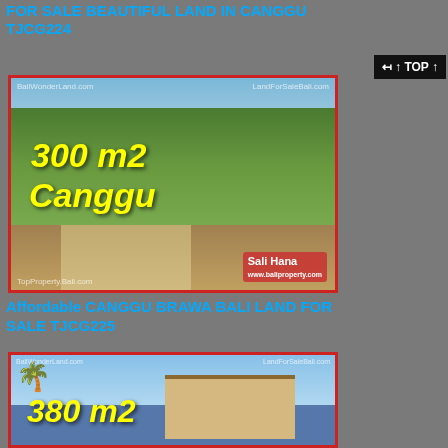FOR SALE BEAUTIFUL LAND IN CANGGU TJCG224
[Figure (photo): Outdoor photo of a vacant 300 m2 land plot in Canggu, Bali, with overgrown grass, dirt road, and nearby buildings visible in background. Yellow italic text reads '300 m2 Canggu'. Watermarks from balipropertyfor.com visible.]
Affordable CANGGU BRAWA BALI LAND FOR SALE TJCG225
[Figure (photo): Outdoor photo of a 380 m2 land plot in Canggu Brawa, Bali, showing a traditional building, palm trees, and power lines. Yellow italic text reads '380 m2'. Watermarks visible.]